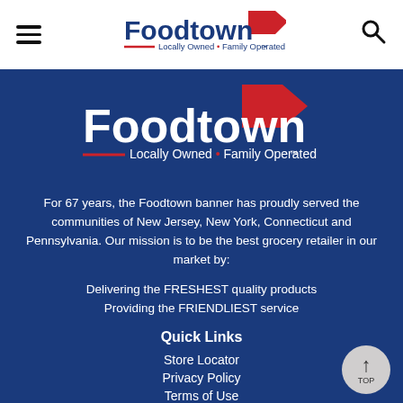[Figure (logo): Hamburger menu icon (three horizontal lines)]
[Figure (logo): Foodtown logo in header — blue text with red flag icon and tagline 'Locally Owned • Family Operated']
[Figure (other): Search (magnifying glass) icon]
[Figure (logo): Foodtown logo on blue background — white and blue text with red flag icon and tagline 'Locally Owned • Family Operated']
For 67 years, the Foodtown banner has proudly served the communities of New Jersey, New York, Connecticut and Pennsylvania. Our mission is to be the best grocery retailer in our market by:
Delivering the FRESHEST quality products
Providing the FRIENDLIEST service
Quick Links
Store Locator
Privacy Policy
Terms of Use
Contact Us